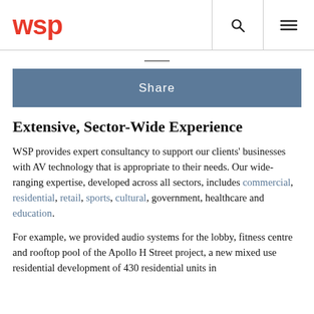WSP
Share
Extensive, Sector-Wide Experience
WSP provides expert consultancy to support our clients' businesses with AV technology that is appropriate to their needs. Our wide-ranging expertise, developed across all sectors, includes commercial, residential, retail, sports, cultural, government, healthcare and education.
For example, we provided audio systems for the lobby, fitness centre and rooftop pool of the Apollo H Street project, a new mixed use residential development of 430 residential units in